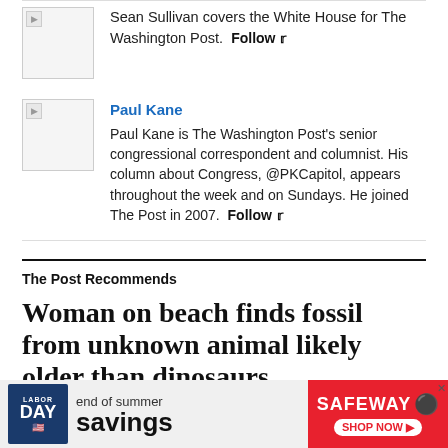Sean Sullivan covers the White House for The Washington Post. Follow
Paul Kane
Paul Kane is The Washington Post's senior congressional correspondent and columnist. His column about Congress, @PKCapitol, appears throughout the week and on Sundays. He joined The Post in 2007. Follow
The Post Recommends
Woman on beach finds fossil from unknown animal likely older than dinosaurs
“It is likely a reptile or a close relative,”
[Figure (other): Safeway Labor Day end of summer savings advertisement banner]